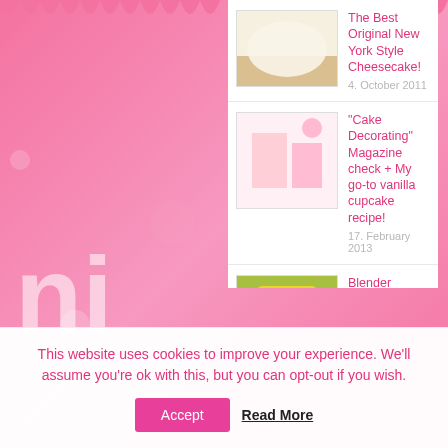The Best Original New York Style Cheesecake!
4. October 2011
“Cake Decorating” Magazine check + My go-to vanilla cupcake recipe!
17. February 2013
Blender Giveaway: Blendtec Designer 725 & Twister Jar – Enter now to win! (CLOSED)
17. March 2015
{International Giveaway} Thank you for 5000 Likes on Facebook!
26. June 2013
{Cupcake Decorating} Basic...
This website uses cookies to improve your experience. We’ll assume you’re ok with this, but you can opt-out if you wish.
Accept
Read More